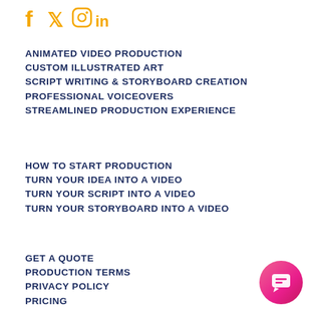[Figure (logo): Social media icons: Facebook, Twitter, Instagram, LinkedIn in yellow/gold color]
ANIMATED VIDEO PRODUCTION
CUSTOM ILLUSTRATED ART
SCRIPT WRITING & STORYBOARD CREATION
PROFESSIONAL VOICEOVERS
STREAMLINED PRODUCTION EXPERIENCE
HOW TO START PRODUCTION
TURN YOUR IDEA INTO A VIDEO
TURN YOUR SCRIPT INTO A VIDEO
TURN YOUR STORYBOARD INTO A VIDEO
GET A QUOTE
PRODUCTION TERMS
PRIVACY POLICY
PRICING
[Figure (other): Pink/magenta circular chat button with speech bubble icon in bottom right corner]